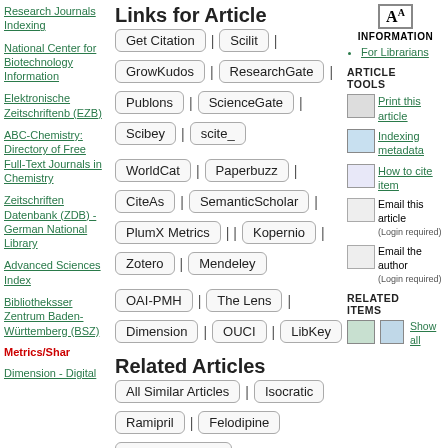Research Journals Indexing
National Center for Biotechnology Information
Elektronische Zeitschriftenb (EZB)
ABC-Chemistry: Directory of Free Full-Text Journals in Chemistry
Zeitschriften Datenbank (ZDB) - German National Library
Advanced Sciences Index
Bibliothekssert Zentrum Baden-Württemberg (BSZ)
Metrics/Shar
Dimension - Digital
Links for Article
Get Citation | Scilit | GrowKudos | ResearchGate | Publons | ScienceGate | Scibey | scite_
WorldCat | Paperbuzz | CiteAs | SemanticScholar | PlumX Metrics | Kopernio | Zotero | Mendeley
OAI-PMH | The Lens | Dimension | OUCI | LibKey
Related Articles
All Similar Articles | Isocratic | Ramipril | Felodipine | Routine analysis | Pharmaceuticals | Chromatography
INFORMATION
For Librarians
ARTICLE TOOLS
Print this article
Indexing metadata
How to cite item
Email this article (Login required)
Email the author (Login required)
RELATED ITEMS
Show all